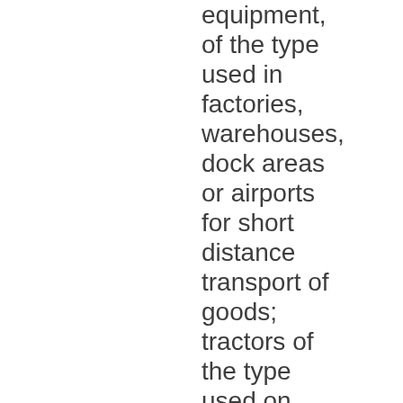equipment, of the type used in factories, warehouses, dock areas or airports for short distance transport of goods; tractors of the type used on railway station platforms; parts of the foregoing which